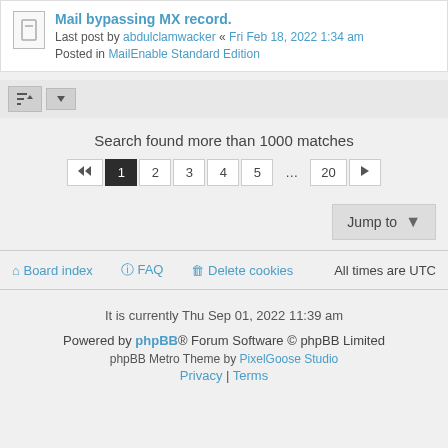Mail bypassing MX record. Last post by abdulclamwacker « Fri Feb 18, 2022 1:34 am Posted in MailEnable Standard Edition
Search found more than 1000 matches
Pagination: 1 2 3 4 5 ... 20
Jump to
Board index  FAQ  Delete cookies  All times are UTC
It is currently Thu Sep 01, 2022 11:39 am
Powered by phpBB® Forum Software © phpBB Limited
phpBB Metro Theme by PixelGoose Studio
Privacy | Terms